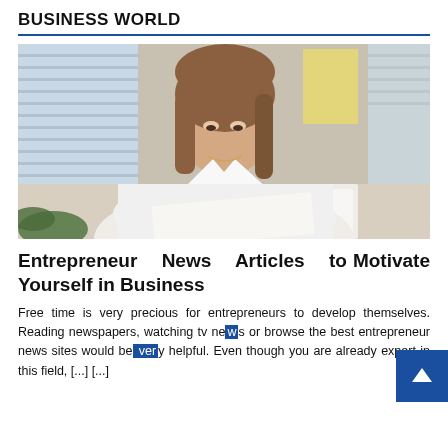BUSINESS WORLD
[Figure (photo): Young woman with long brown hair wearing a white polo shirt, leaning over a desk reading documents in an office setting with blinds and plants in the background.]
Entrepreneur News Articles to Motivate Yourself in Business
Free time is very precious for entrepreneurs to develop themselves. Reading newspapers, watching tv news or browse the best entrepreneur news sites would be very helpful. Even though you are already expert in this field, [...] [...]